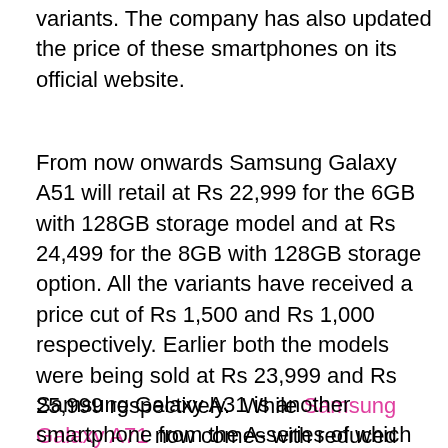variants. The company has also updated the price of these smartphones on its official website.
From now onwards Samsung Galaxy A51 will retail at Rs 22,999 for the 6GB with 128GB storage model and at Rs 24,499 for the 8GB with 128GB storage option. All the variants have received a price cut of Rs 1,500 and Rs 1,000 respectively. Earlier both the models were being sold at Rs 23,999 and Rs 25,999 respectively.  While Samsung Galaxy A71 now comes with reduced pricing of Rs 29,499 for the single 8GB RAM with a 128GB storage option. Before the price cut, it was retailing at Rs 29,000 in India.
Samsung Galaxy A31 is another smartphone from the A-series of which price has been revised. It can now be purchased at Rs 18,999 for the single 6GB...